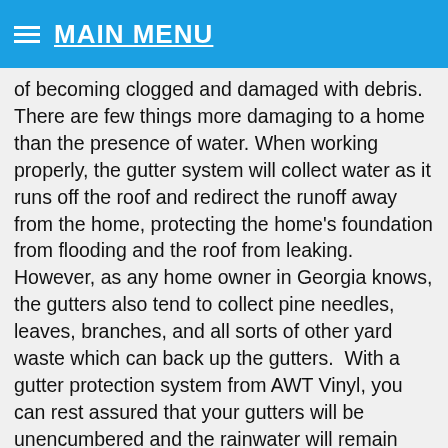≡ MAIN MENU
of becoming clogged and damaged with debris. There are few things more damaging to a home than the presence of water. When working properly, the gutter system will collect water as it runs off the roof and redirect the runoff away from the home, protecting the home's foundation from flooding and the roof from leaking. However, as any home owner in Georgia knows, the gutters also tend to collect pine needles, leaves, branches, and all sorts of other yard waste which can back up the gutters.  With a gutter protection system from AWT Vinyl, you can rest assured that your gutters will be unencumbered and the rainwater will remain outside of your home where it belongs.
At AWT Vinyl, we are proud to feature Leaf Relief gutter protection. This gutter guard attaches securely to the home's gutter system and is built tough to withstand the harshest of